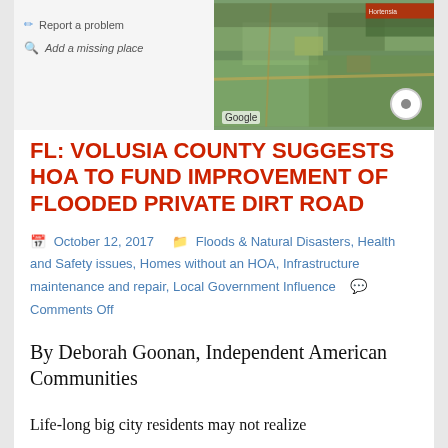[Figure (screenshot): Google Maps satellite view of rural area with fields and roads, with small UI elements on the left side showing 'Report a problem' and 'Add a missing place' links]
FL: VOLUSIA COUNTY SUGGESTS HOA TO FUND IMPROVEMENT OF FLOODED PRIVATE DIRT ROAD
October 12, 2017  Floods & Natural Disasters, Health and Safety issues, Homes without an HOA, Infrastructure maintenance and repair, Local Government Influence  Comments Off
By Deborah Goonan, Independent American Communities
Life-long big city residents may not realize